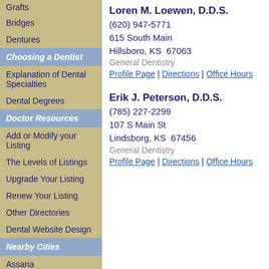Grafts
Bridges
Dentures
Choosing a Dentist
Explanation of Dental Specialties
Dental Degrees
Doctor Resources
Add or Modify your Listing
The Levels of Listings
Upgrade Your Listing
Renew Your Listing
Other Directories
Dental Website Design
Nearby Cities
Assaria
Loren M. Loewen, D.D.S.
(620) 947-5771
615 South Main
Hillsboro, KS  67063
General Dentistry
Profile Page | Directions | Office Hours
Erik J. Peterson, D.D.S.
(785) 227-2299
107 S Main St
Lindsborg, KS  67456
General Dentistry
Profile Page | Directions | Office Hours